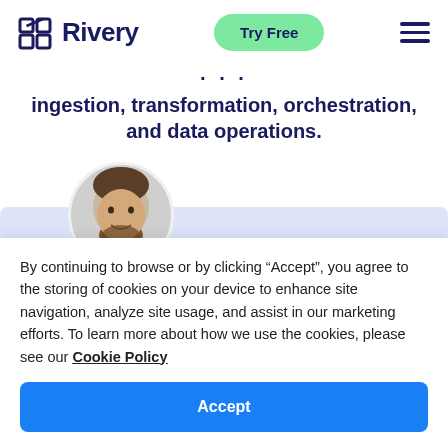Rivery — Try Free
ingestion, transformation, orchestration, and data operations.
[Figure (photo): Circular avatar photo of a man with a beard, partially visible, with a lavender/blue background band behind it.]
By continuing to browse or by clicking “Accept”, you agree to the storing of cookies on your device to enhance site navigation, analyze site usage, and assist in our marketing efforts. To learn more about how we use the cookies, please see our Cookie Policy
Accept